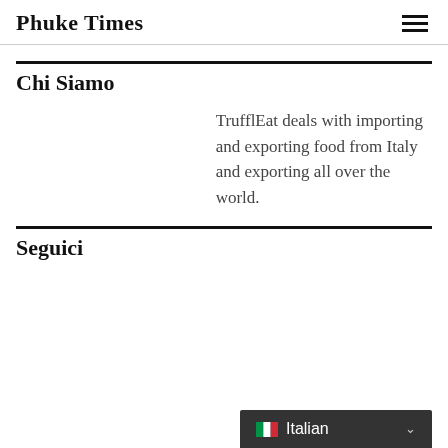Phuке Times
Chi Siamo
TrufflEat deals with importing and exporting food from Italy and exporting all over the world.
Seguici
[Figure (other): Language selector bar showing Italian flag and 'Italian' text with a dropdown chevron, dark background]